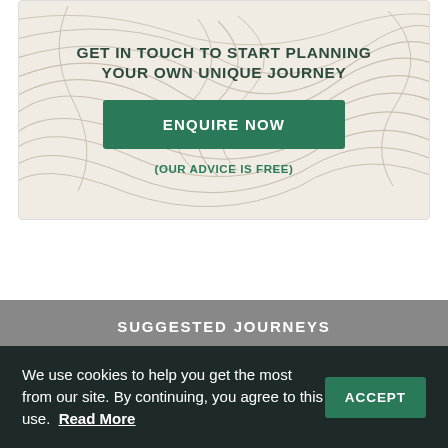GET IN TOUCH TO START PLANNING YOUR OWN UNIQUE JOURNEY
ENQUIRE NOW
(OUR ADVICE IS FREE)
SUGGESTED JOURNEYS
WHERE TO STAY
We use cookies to help you get the most from our site. By continuing, you agree to this use. Read More ACCEPT